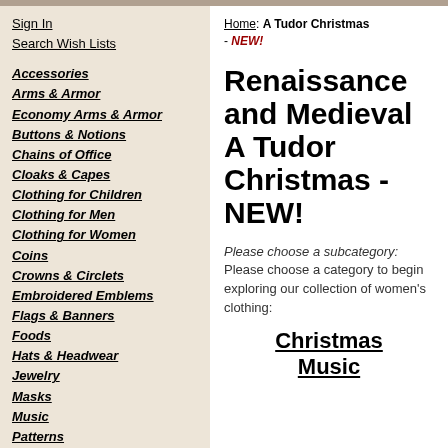Sign In
Search Wish Lists
Accessories
Arms & Armor
Economy Arms & Armor
Buttons & Notions
Chains of Office
Cloaks & Capes
Clothing for Children
Clothing for Men
Clothing for Women
Coins
Crowns & Circlets
Embroidered Emblems
Flags & Banners
Foods
Hats & Headwear
Jewelry
Masks
Music
Patterns
Puppets
Shoes & Boots
Stationery
Tableware
Tapestries
Tents & Pavilions
Toys & Games
Home: A Tudor Christmas - NEW!
Renaissance and Medieval A Tudor Christmas - NEW!
Please choose a subcategory: Please choose a category to begin exploring our collection of women's clothing:
Christmas Music